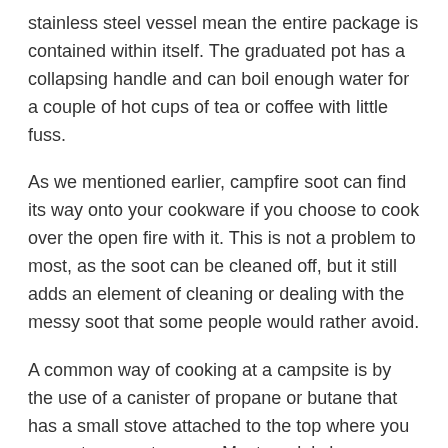stainless steel vessel mean the entire package is contained within itself. The graduated pot has a collapsing handle and can boil enough water for a couple of hot cups of tea or coffee with little fuss.
As we mentioned earlier, campfire soot can find its way onto your cookware if you choose to cook over the open fire with it. This is not a problem to most, as the soot can be cleaned off, but it still adds an element of cleaning or dealing with the messy soot that some people would rather avoid.
A common way of cooking at a campsite is by the use of a canister of propane or butane that has a small stove attached to the top where you can set your pot or pan. Most models have a stove that expands out to hold the included pots or pans in the set. Utensils are even thrown in to make them even more complete all in one set that result...